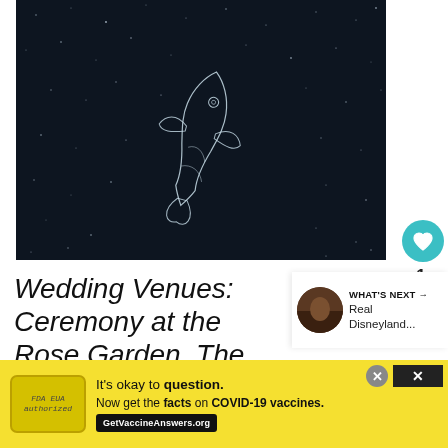[Figure (illustration): Dark starfield background with a white line-art fish/squid constellation illustration in the center]
Wedding Venues: Ceremony at the Rose Garden, The Disneyland Hotel, and Reception at the Wisteria Room, Disney's Grand Californian Hotel & Sp...
[Figure (infographic): WHAT'S NEXT arrow label with thumbnail image and text 'Real Disneyland...']
[Figure (infographic): Advertisement bar: It's okay to question. Now get the facts on COVID-19 vaccines. GetVaccineAnswers.org]